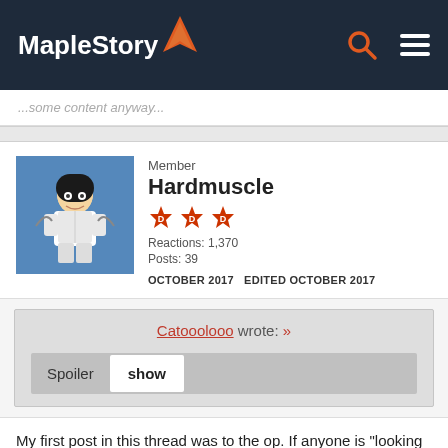MapleStory
...some content anyway...
Member
Hardmuscle
Reactions: 1,370
Posts: 39
OCTOBER 2017   EDITED OCTOBER 2017
Catooolooo wrote: »
Spoiler   show
My first post in this thread was to the op. If anyone is "looking for an argument", it's the lot of trolls who've been quoting me ever